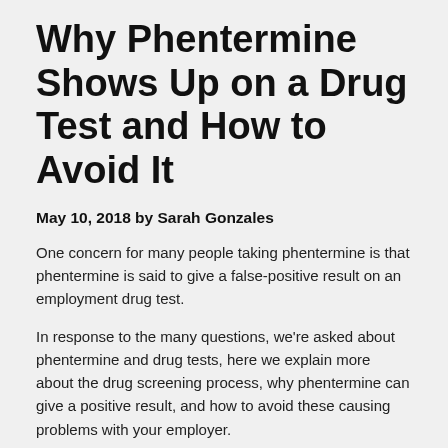Why Phentermine Shows Up on a Drug Test and How to Avoid It
May 10, 2018 by Sarah Gonzales
One concern for many people taking phentermine is that phentermine is said to give a false-positive result on an employment drug test.
In response to the many questions, we're asked about phentermine and drug tests, here we explain more about the drug screening process, why phentermine can give a positive result, and how to avoid these causing problems with your employer.
What Does the Drug Test Look For?
Drug testing is an action that an employer or prospective employer can take to determine if employees or job applicants are using drugs. Rather than acting as a test of impairment or